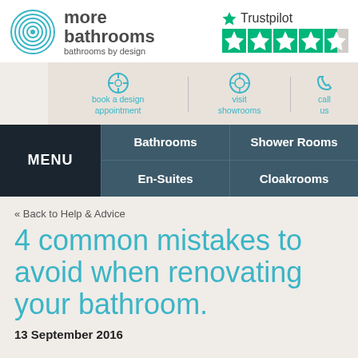[Figure (logo): More Bathrooms logo with circular wave icon and text 'more bathrooms bathrooms by design']
[Figure (logo): Trustpilot logo with 4.5 star rating shown as green stars]
book a design appointment | visit showrooms | call us
MENU | Bathrooms | Shower Rooms | En-Suites | Cloakrooms
« Back to Help & Advice
4 common mistakes to avoid when renovating your bathroom.
13 September 2016